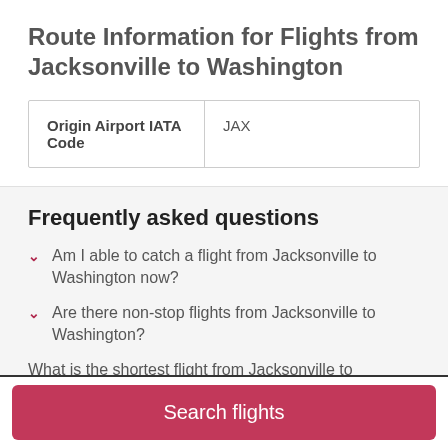Route Information for Flights from Jacksonville to Washington
| Origin Airport IATA Code | JAX |
| --- | --- |
Frequently asked questions
Am I able to catch a flight from Jacksonville to Washington now?
Are there non-stop flights from Jacksonville to Washington?
What is the shortest flight from Jacksonville to
Search flights